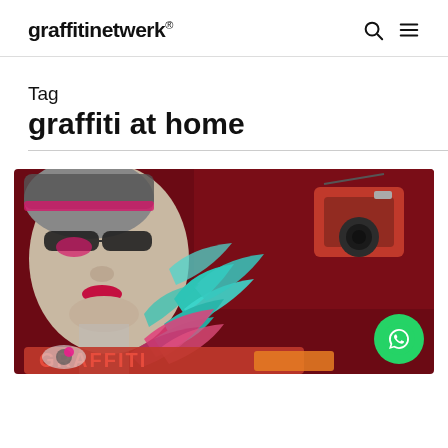graffitinetwerk®
Tag
graffiti at home
[Figure (photo): Graffiti mural artwork showing a stylized woman's face with sunglasses, red lips, teal tropical leaves, pink plants, and red graffiti lettering at the bottom, on a dark red background. A green WhatsApp button is overlaid in the bottom right corner.]